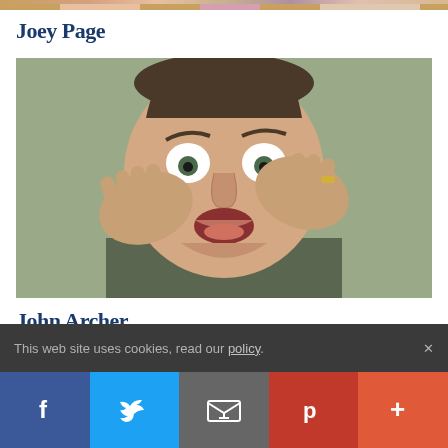[Figure (photo): Partial top strip showing another image cropped at top of page]
Joey Page
[Figure (photo): Photo of a middle-aged man with short dark hair, wide eyes, mouth open in surprise/shock expression, hands raised to his cheeks, wearing a dark green/grey shirt, against a muted green background]
John Archer
This web site uses cookies, read our policy.